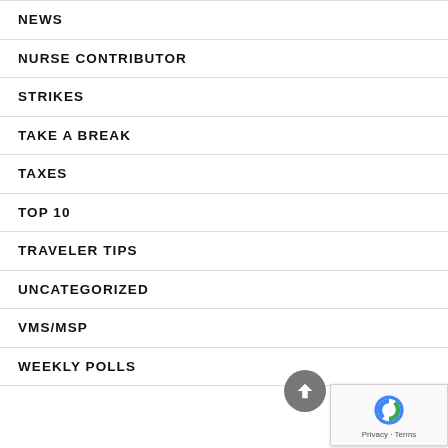NEWS
NURSE CONTRIBUTOR
STRIKES
TAKE A BREAK
TAXES
TOP 10
TRAVELER TIPS
UNCATEGORIZED
VMS/MSP
WEEKLY POLLS